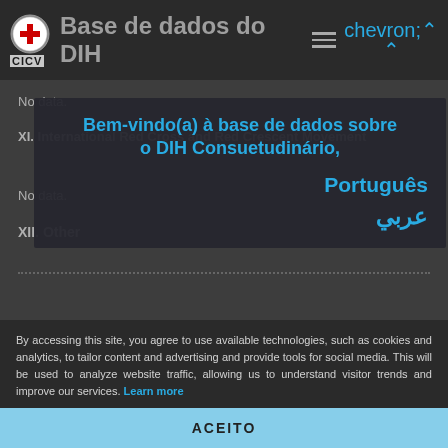Base de dados do DIH
No data.
XI. International Red Cross and Red Crescent Movement
No data.
XII. Other
Bem-vindo(a) à base de dados sobre o DIH Consuetudinário,
Português
عربي
By accessing this site, you agree to use available technologies, such as cookies and analytics, to tailor content and advertising and provide tools for social media. This will be used to analyze website traffic, allowing us to understand visitor trends and improve our services. Learn more
ACEITO